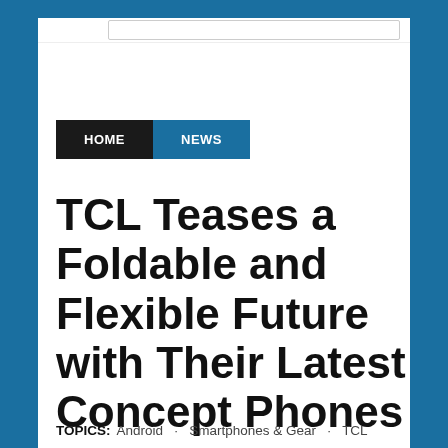HOME  NEWS
TCL Teases a Foldable and Flexible Future with Their Latest Concept Phones
TOPICS:   Android   Smartphones & Gear   TCL